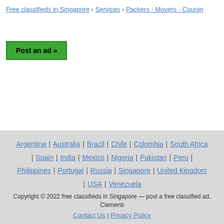Free classifieds in Singapore › Services › Packers - Movers - Courier
Post an ad »
Argentina | Australia | Brazil | Chile | Colombia | South Africa | Spain | India | Mexico | Nigeria | Pakistan | Peru | Philippines | Portugal | Russia | Singapore | United Kingdom | USA | Venezuela
Copyright © 2022 free classifieds in Singapore — post a free classified ad, Clementi
Contact Us | Privacy Policy